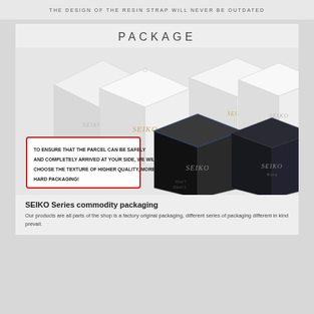THE DESIGN OF THE RESIN STRAP WILL NEVER BE OUTDATED
PACKAGE
[Figure (photo): Multiple Seiko watch packaging boxes shown: white boxes in various sizes and two dark (black/navy) boxes with Seiko branding, arranged together. A red-outlined text box overlay reads: TO ENSURE THAT THE PARCEL CAN BE SAFELY AND COMPLETELY ARRIVED AT YOUR SIDE, WE WILL CHOOSE THE TEXTURE OF HIGHER QUALITY, MORE HARD PACKAGING!]
SEIKO Series commodity packaging
Our products are all parts of the shop is a factory original packaging, different series of packaging different in kind prevail.